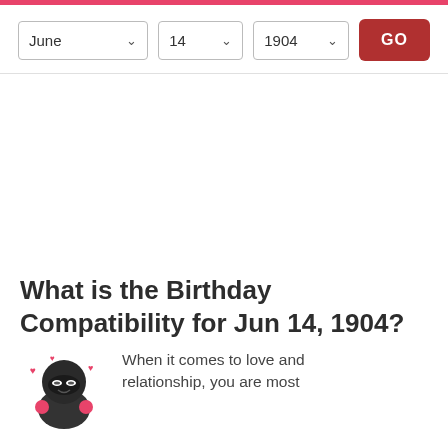June  14  1904  GO
What is the Birthday Compatibility for Jun 14, 1904?
When it comes to love and relationship, you are most